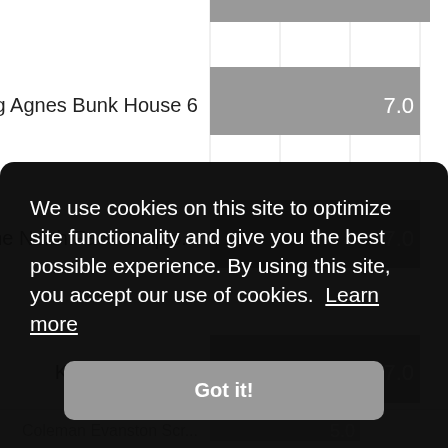[Figure (bar-chart): Tent ratings (partial view)]
We use cookies on this site to optimize site functionality and give you the best possible experience. By using this site, you accept our use of cookies. Learn more